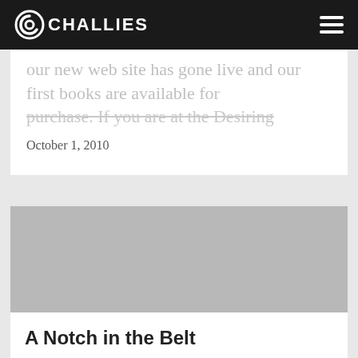CHALLIES
our new web site has gone live and our first books are available for purchase. If you are at the Desiring...
October 1, 2010
[Figure (photo): Gray placeholder image for article thumbnail]
A Notch in the Belt
When I was a teenager, there was a boy in my class who was not quite...